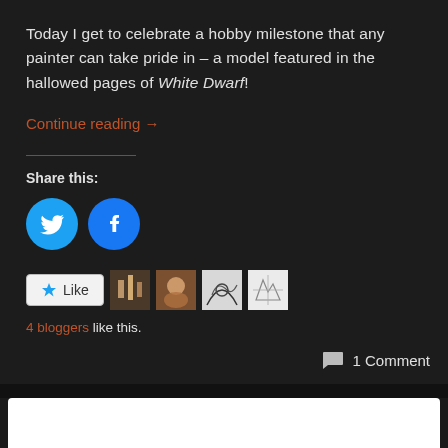Today I get to celebrate a hobby milestone that any painter can take pride in – a model featured in the hallowed pages of White Dwarf!
Continue reading →
Share this:
[Figure (illustration): Twitter and Facebook social share icon circles (blue circles with white Twitter bird and Facebook 'f' logos)]
[Figure (illustration): Like button with star icon and four blogger avatar thumbnails]
4 bloggers like this.
1 Comment